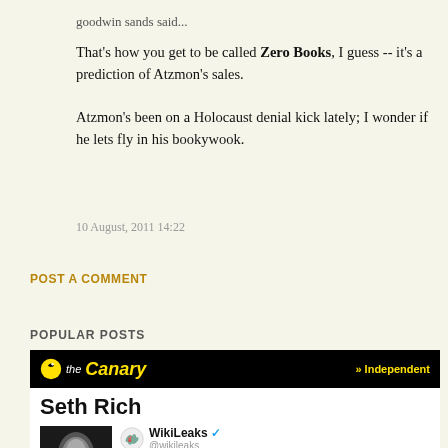goodwin sands said...
That's how you get to be called Zero Books, I guess -- it's a prediction of Atzmon's sales.

Atzmon's been on a Holocaust denial kick lately; I wonder if he lets fly in his bookywook.
10 August, 2011 14:22
POST A COMMENT
POPULAR POSTS
[Figure (screenshot): The Canary website article screenshot showing 'Seth Rich' headline with a WikiLeaks tweet about audio tape of Seymour Hersh discussing WikiLeaks DNC leaks and Seth Rich]